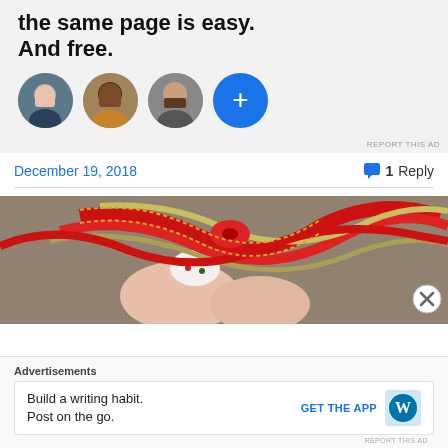[Figure (screenshot): Advertisement banner with bold text 'the same page is easy. And free.' and three circular avatar photos plus a blue plus button]
REPORT THIS AD
December 19, 2018    💬 1 Reply
[Figure (photo): Close-up photo of fingers holding a red and silver decorative ribbon bow, with holiday nail art visible on a finger]
Advertisements
Build a writing habit. Post on the go.    GET THE APP
REPORT THIS AD